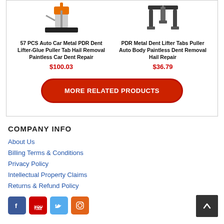[Figure (photo): 57 PCS Auto Car Metal PDR Dent Lifter-Glue Puller product image showing orange tool on black base]
[Figure (photo): PDR Metal Dent Lifter Tabs Puller product image showing black metal frame device]
57 PCS Auto Car Metal PDR Dent Lifter-Glue Puller Tab Hail Removal Paintless Car Dent Repair
$100.03
PDR Metal Dent Lifter Tabs Puller Auto Body Paintless Dent Removal Hail Repair
$36.79
MORE RELATED PRODUCTS
COMPANY INFO
About Us
Billing Terms & Conditions
Privacy Policy
Intellectual Property Claims
Returns & Refund Policy
[Figure (logo): Social media icons: Facebook, YouTube, Twitter, Instagram]